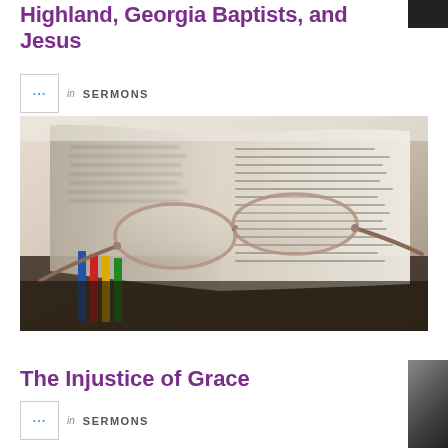Highland, Georgia Baptists, and Jesus
in SERMONS
[Figure (photo): Open Bible with reading glasses resting on the pages, colorful ribbon bookmarks visible on the left side, shallow depth of field photography]
The Injustice of Grace
in SERMONS